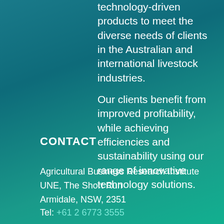technology-driven products to meet the diverse needs of clients in the Australian and international livestock industries.
Our clients benefit from improved profitability, while achieving efficiencies and sustainability using our range of innovative technology solutions.
CONTACT
Agricultural Business Research Institute
UNE, The Short Run
Armidale, NSW, 2351
Tel: +61 2 6773 3555